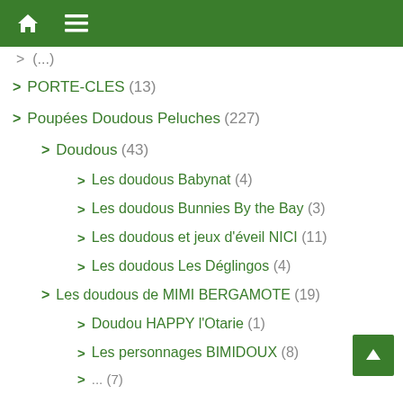Home | Menu
(...) [partial, truncated top]
PORTE-CLES (13)
Poupées Doudous Peluches (227)
Doudous (43)
Les doudous Babynat (4)
Les doudous Bunnies By the Bay (3)
Les doudous et jeux d'éveil NICI (11)
Les doudous Les Déglingos (4)
Les doudous de MIMI BERGAMOTE (19)
Doudou HAPPY l'Otarie (1)
Les personnages BIMIDOUX (8)
... (7) [partial, truncated bottom]